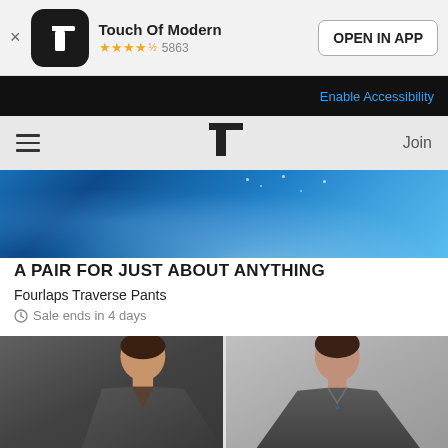Touch Of Modern ★★★★½ 5863 OPEN IN APP
Enable Accessibility
[Figure (screenshot): Touch of Modern website navigation bar with hamburger menu, T logo, and Join link]
[Figure (photo): Close-up of blue wet fabric or pants material]
A PAIR FOR JUST ABOUT ANYTHING
Fourlaps Traverse Pants
Sale ends in 4 days
[Figure (photo): Two male models wearing dark gray tops, left model in side profile, right model facing forward]